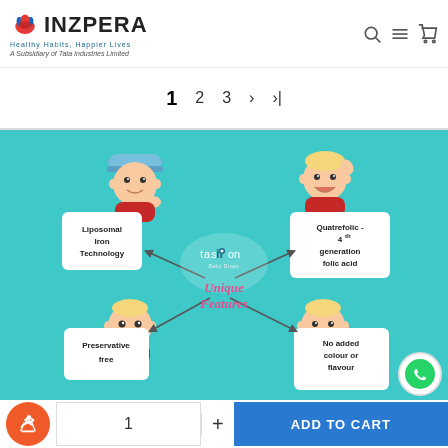[Figure (logo): Inzpera logo with icon, tagline 'Healthy Habits, Happier Lives', and subtitle 'A Subsidiary of Tata Industries Limited']
1  2  3  >  >|
[Figure (illustration): Teal background product feature illustration for 'Tasion Baby Drops' showing 4 cartoon baby characters holding white cards with text: 'Liposomal Iron Technology', 'Quatrefolic - 4th generation folic acid', 'Preservative free', 'No added colour or flavour'. Center text reads 'Unique Features' in pink cursive.]
1  +  ADD TO CART